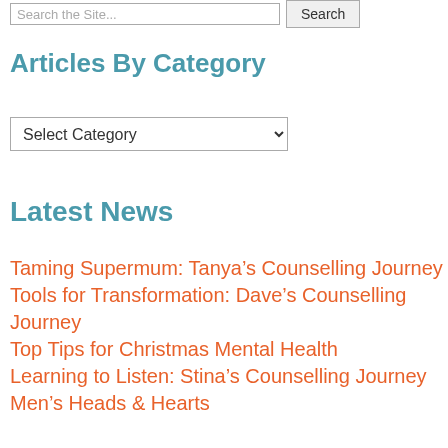Search the Site...  Search
Articles By Category
Select Category
Latest News
Taming Supermum: Tanya’s Counselling Journey
Tools for Transformation: Dave’s Counselling Journey
Top Tips for Christmas Mental Health
Learning to Listen: Stina’s Counselling Journey
Men’s Heads & Hearts